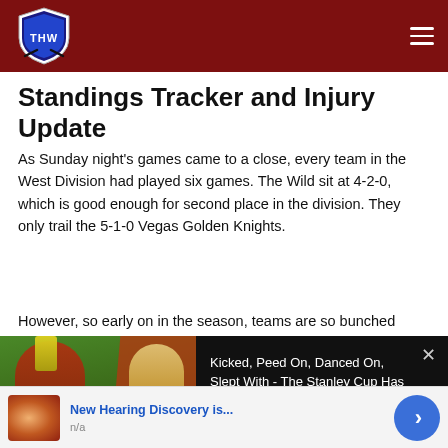THW Hockey Writers Logo / Navigation
Standings Tracker and Injury Update
As Sunday night’s games came to a close, every team in the West Division had played six games. The Wild sit at 4-2-0, which is good enough for second place in the division. They only trail the 5-1-0 Vegas Golden Knights.
However, so early on in the season, teams are so bunched
[Figure (screenshot): Video ad overlay: TOP 3 CRAZIEST MOMENTS OF THE STANLEY CUP with thumbnail of crowd/trophy scene. Right side black panel: 'Kicked, Peed On, Danced On, Slept With - The Stanley Cup Has Been Through The Ringer.' Close (x) button top right.]
game season could be disastrous.
[Figure (screenshot): Bottom advertisement bar: image of ear/anatomy, text 'New Hearing Discovery is...' / 'n/a', blue circle arrow button on right.]